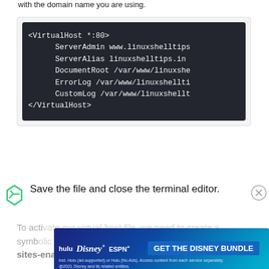with the domain name you are using.
[Figure (screenshot): Dark terminal code block showing Apache VirtualHost configuration with ServerAdmin, ServerAlias, DocumentRoot, ErrorLog, and CustomLog directives]
Save the file and close the terminal editor.
To activate our virtual host file, we need to create a symbolic link... sites-enabled directories.
[Figure (other): Advertisement banner for Disney Bundle featuring Hulu, Disney+, and ESPN+]